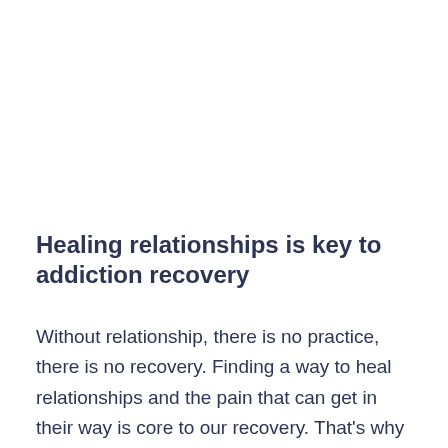Healing relationships is key to addiction recovery
Without relationship, there is no practice, there is no recovery. Finding a way to heal relationships and the pain that can get in their way is core to our recovery. That's why we begin our meditation by recognizing what was done and the pain that it caused. If we're